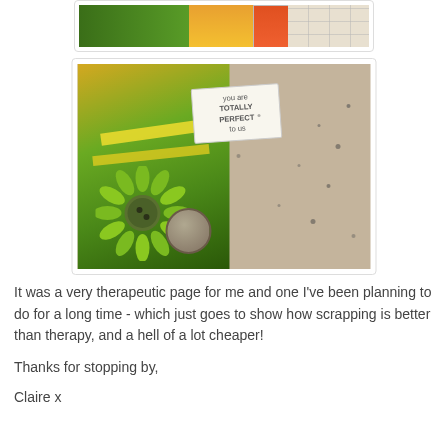[Figure (photo): Top cropped photo showing colorful scrapbooking materials with orange, green and yellow patterned papers and a grid/calendar element]
[Figure (photo): Close-up photo of a scrapbooking layout on burlap/kraft background featuring a green paper flower with dark button center, a ticket tag reading 'you are TOTALLY PERFECT to us', and scattered ink spots]
It was a very therapeutic page for me and one I've been planning to do for a long time - which just goes to show how scrapping is better than therapy, and a hell of a lot cheaper!
Thanks for stopping by,
Claire x